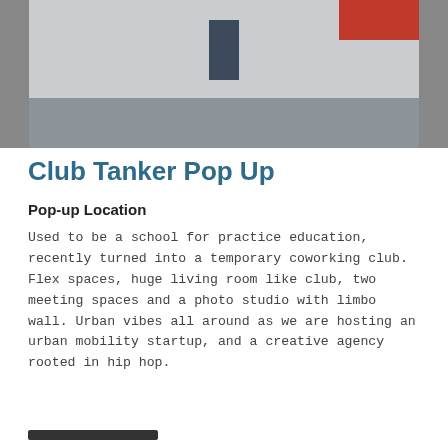[Figure (photo): Exterior photo of an industrial/warehouse building with a parking lot in the foreground, a blue door in the center, and a red awning on the right side.]
Club Tanker Pop Up
Pop-up Location
Used to be a school for practice education, recently turned into a temporary coworking club. Flex spaces, huge living room like club, two meeting spaces and a photo studio with limbo wall. Urban vibes all around as we are hosting an urban mobility startup, and a creative agency rooted in hip hop.